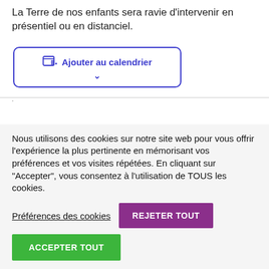La Terre de nos enfants sera ravie d'intervenir en présentiel ou en distanciel.
[Figure (other): Button with calendar icon labeled 'Ajouter au calendrier' with a dropdown chevron, blue border and text]
Nous utilisons des cookies sur notre site web pour vous offrir l'expérience la plus pertinente en mémorisant vos préférences et vos visites répétées. En cliquant sur "Accepter", vous consentez à l'utilisation de TOUS les cookies.
Préférences des cookies
REJETER TOUT
ACCEPTER TOUT